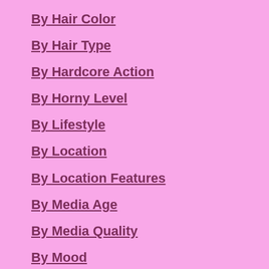By Hair Color
By Hair Type
By Hardcore Action
By Horny Level
By Lifestyle
By Location
By Location Features
By Media Age
By Media Quality
By Mood
By Name
By Nationality
By Nude Body Parts
By Nudity Level
By Number Of People